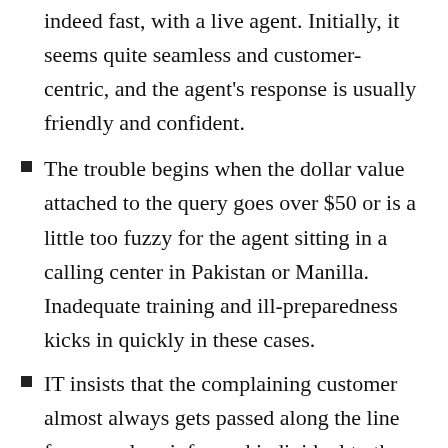indeed fast, with a live agent. Initially, it seems quite seamless and customer-centric, and the agent's response is usually friendly and confident.
The trouble begins when the dollar value attached to the query goes over $50 or is a little too fuzzy for the agent sitting in a calling center in Pakistan or Manilla. Inadequate training and ill-preparedness kicks in quickly in these cases.
IT insists that the complaining customer almost always gets passed along the line from one less-informed individual to the next.